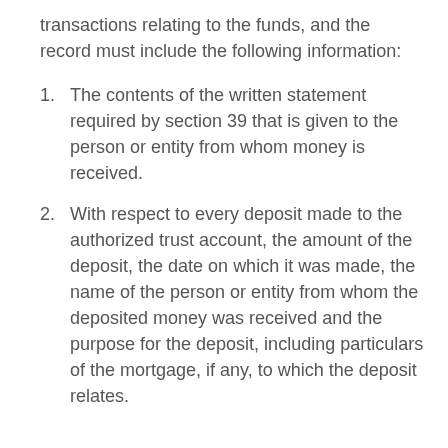transactions relating to the funds, and the record must include the following information:
The contents of the written statement required by section 39 that is given to the person or entity from whom money is received.
With respect to every deposit made to the authorized trust account, the amount of the deposit, the date on which it was made, the name of the person or entity from whom the deposited money was received and the purpose for the deposit, including particulars of the mortgage, if any, to which the deposit relates.